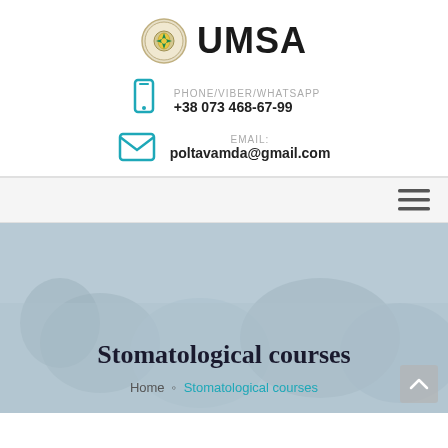[Figure (logo): UMSA logo with circular emblem icon and bold UMSA text]
PHONE/VIBER/WHATSAPP
+38 073 468-67-99
EMAIL:
poltavamda@gmail.com
[Figure (other): Navigation bar with hamburger menu icon]
Stomatological courses
Home » Stomatological courses